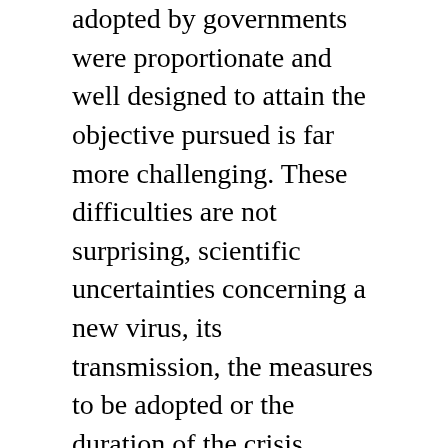adopted by governments were proportionate and well designed to attain the objective pursued is far more challenging. These difficulties are not surprising, scientific uncertainties concerning a new virus, its transmission, the measures to be adopted or the duration of the crisis, being inherent to the situation. A consequence of this confusion is that the protection of human rights, like freedom of movement, the right to privacy or freedom of religion, has been invoked or instrumentalized to delegitimise and brand as illegal certain public health measures such as the obligation to wear a mask. These difficulties must be rapidly addressed.
Secondly, efforts must be made to compensate for the lack of human rights-based guidance for states to prepare for a future public health emergency. The International Health Regulations (IHR), adopted in 2005 and building additional framework for pandemic...